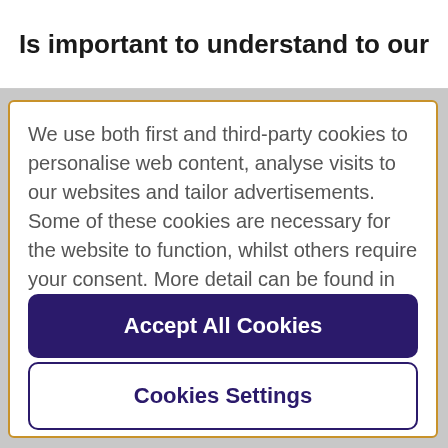Is important to understand to our
We use both first and third-party cookies to personalise web content, analyse visits to our websites and tailor advertisements. Some of these cookies are necessary for the website to function, whilst others require your consent. More detail can be found in our cookie policy and you can tailor your choices in the preference centre.
Accept All Cookies
Cookies Settings